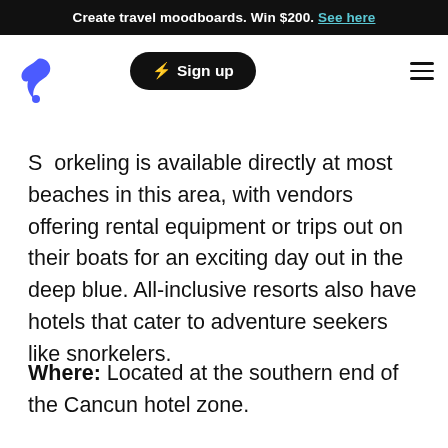Create travel moodboards. Win $200. See here
Snorkeling is available directly at most beaches in this area, with vendors offering rental equipment or trips out on their boats for an exciting day out in the deep blue. All-inclusive resorts also have hotels that cater to adventure seekers like snorkelers.
Where: Located at the southern end of the Cancun hotel zone.